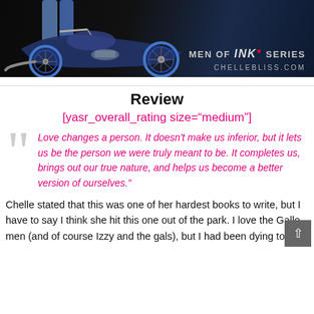[Figure (photo): Banner image showing a motorcycle with a person standing beside it, dark background. Text overlay reads 'MEN OF INK SERIES' and 'CHELLEBLISS.COM']
Review
[yasr_overall_rating size="medium"]
Love changes a person. It doesn't make us inferior, but it lets us be the person we were truly meant to be. It completes us, brings out our true nature, and helps us become a better version of ourselves.”
Chelle stated that this was one of her hardest books to write, but I have to say I think she hit this one out of the park. I love the Gallo men (and of course Izzy and the gals), but I had been dying to hear